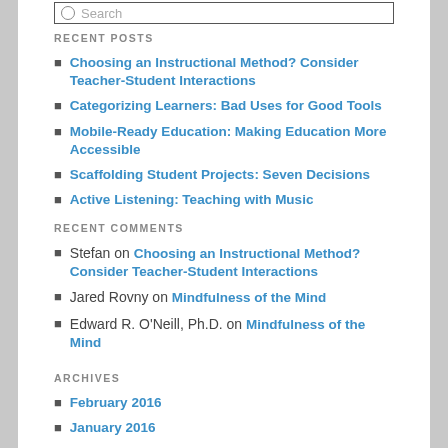RECENT POSTS
Choosing an Instructional Method? Consider Teacher-Student Interactions
Categorizing Learners: Bad Uses for Good Tools
Mobile-Ready Education: Making Education More Accessible
Scaffolding Student Projects: Seven Decisions
Active Listening: Teaching with Music
RECENT COMMENTS
Stefan on Choosing an Instructional Method? Consider Teacher-Student Interactions
Jared Rovny on Mindfulness of the Mind
Edward R. O'Neill, Ph.D. on Mindfulness of the Mind
ARCHIVES
February 2016
January 2016